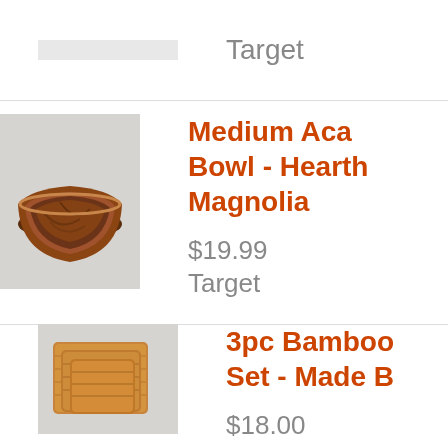[Figure (photo): Partial product image at top (cropped, gray background)]
Target
[Figure (photo): Acacia wood bowl on gray background]
Medium Acacia Bowl - Hearth & Magnolia
$19.99
Target
[Figure (photo): 3-piece bamboo cutting board set on gray background]
3pc Bamboo Set - Made B…
$18.00
Target